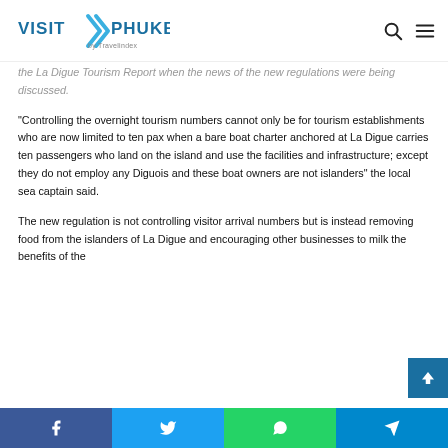VISIT PHUKET by Travelindex
the La Digue Tourism Report when the news of the new regulations were being discussed.
“Controlling the overnight tourism numbers cannot only be for tourism establishments who are now limited to ten pax when a bare boat charter anchored at La Digue carries ten passengers who land on the island and use the facilities and infrastructure; except they do not employ any Diguois and these boat owners are not islanders” the local sea captain said.
The new regulation is not controlling visitor arrival numbers but is instead removing food from the islanders of La Digue and encouraging other businesses to milk the benefits of the